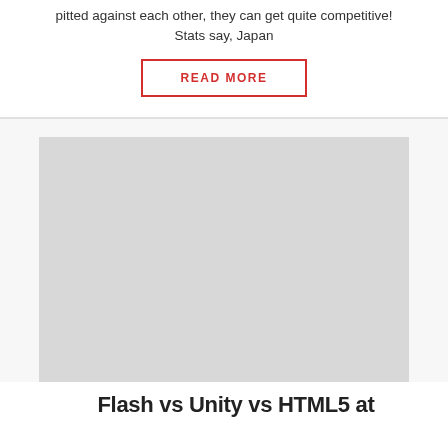pitted against each other, they can get quite competitive! Stats say, Japan
READ MORE
[Figure (other): Large gray placeholder image box]
Flash vs Unity vs HTML5 at